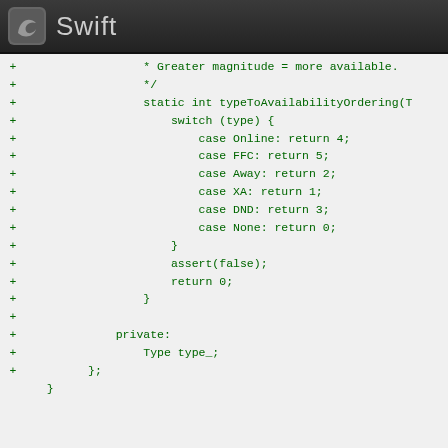Swift
+                 * Greater magnitude = more available.
+                 */
+                 static int typeToAvailabilityOrdering(T
+                     switch (type) {
+                         case Online: return 4;
+                         case FFC: return 5;
+                         case Away: return 2;
+                         case XA: return 1;
+                         case DND: return 3;
+                         case None: return 0;
+                     }
+                     assert(false);
+                     return 0;
+                 }
+
+             private:
+                 Type type_;
+         };
   }